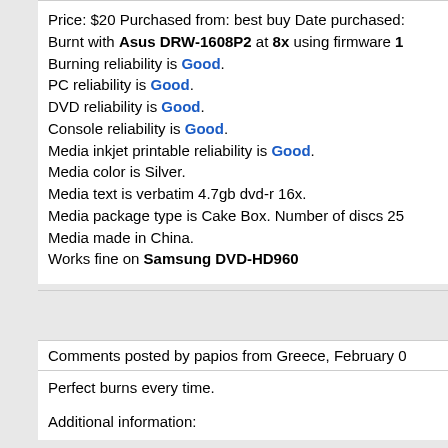Price: $20 Purchased from: best buy Date purchased: Burnt with Asus DRW-1608P2 at 8x using firmware 1. Burning reliability is Good. PC reliability is Good. DVD reliability is Good. Console reliability is Good. Media inkjet printable reliability is Good. Media color is Silver. Media text is verbatim 4.7gb dvd-r 16x. Media package type is Cake Box. Number of discs 25. Media made in China. Works fine on Samsung DVD-HD960
Comments posted by papios from Greece, February 0
Perfect burns every time.
Additional information: